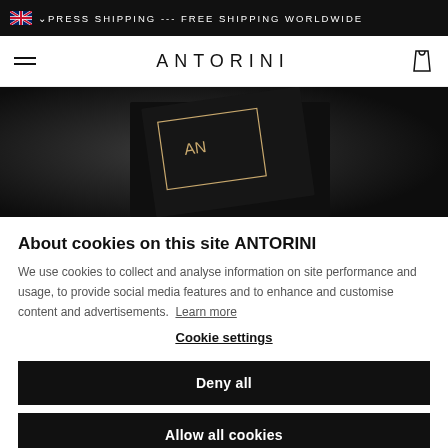🇬🇧 ∨PRESS SHIPPING --- FREE SHIPPING WORLDWIDE
[Figure (screenshot): ANTORINI website navigation bar with hamburger menu, brand name ANTORINI, and cart icon]
[Figure (photo): Dark hero image showing ANTORINI branded black box with gold rectangular outline and logo]
About cookies on this site ANTORINI
We use cookies to collect and analyse information on site performance and usage, to provide social media features and to enhance and customise content and advertisements. Learn more
Cookie settings
Deny all
Allow all cookies